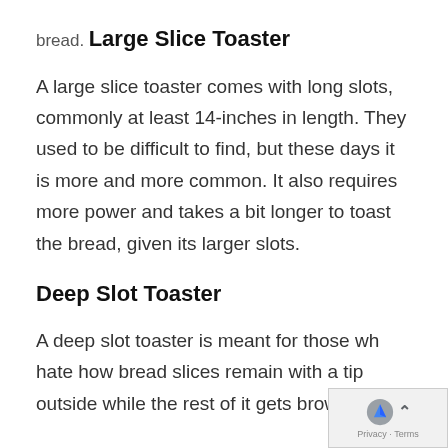bread.
Large Slice Toaster
A large slice toaster comes with long slots, commonly at least 14-inches in length. They used to be difficult to find, but these days it is more and more common. It also requires more power and takes a bit longer to toast the bread, given its larger slots.
Deep Slot Toaster
A deep slot toaster is meant for those who hate how bread slices remain with a tip outside while the rest of it gets browned.